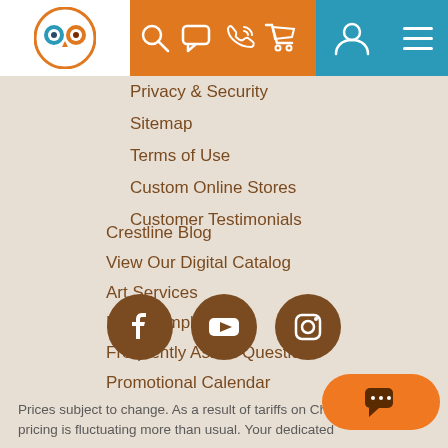Crestline navigation header with logo, search, chat, phone, cart, profile, and menu icons
Privacy & Security
Sitemap
Terms of Use
Custom Online Stores
Customer Testimonials
Crestline Blog
View Our Digital Catalog
Art Services
Free Samples
Frequently Asked Questions
Promotional Calendar
Promotional Products Glossary
Shop by Brand
Shop by Theme
[Figure (infographic): Social media icons: Facebook, YouTube, Instagram — brown circular icons]
Prices subject to change. As a result of tariffs on Chinese imports, pricing is fluctuating more than usual. Your dedicated